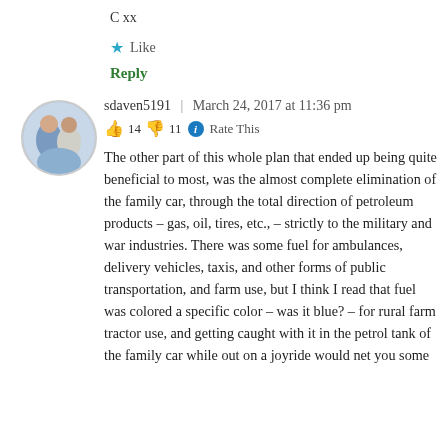C xx
★ Like
Reply
[Figure (photo): Circular avatar photo of two men, one in a blue shirt and one in white.]
sdaven5191 | March 24, 2017 at 11:36 pm
👍 14 👎 11 ℹ Rate This
The other part of this whole plan that ended up being quite beneficial to most, was the almost complete elimination of the family car, through the total direction of petroleum products – gas, oil, tires, etc., – strictly to the military and war industries. There was some fuel for ambulances, delivery vehicles, taxis, and other forms of public transportation, and farm use, but I think I read that fuel was colored a specific color – was it blue? – for rural farm tractor use, and getting caught with it in the petrol tank of the family car while out on a joyride would net you some